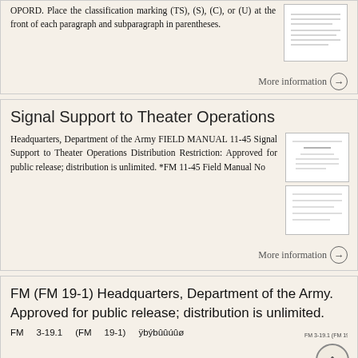OPORD. Place the classification marking (TS), (S), (C), or (U) at the front of each paragraph and subparagraph in parentheses.
More information →
Signal Support to Theater Operations
Headquarters, Department of the Army FIELD MANUAL 11-45 Signal Support to Theater Operations Distribution Restriction: Approved for public release; distribution is unlimited. *FM 11-45 Field Manual No
More information →
FM (FM 19-1) Headquarters, Department of the Army. Approved for public release; distribution is unlimited.
FM   3-19.1   (FM   19-1)   ÿbýbûûúûø